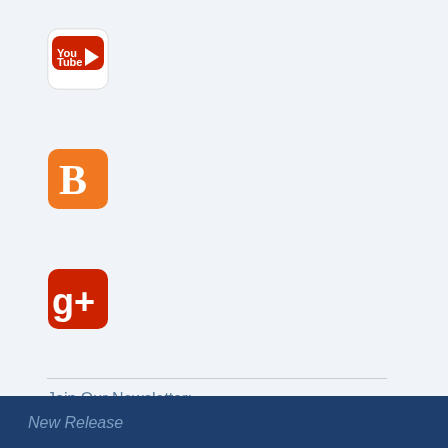[Figure (logo): YouTube icon - red rectangle with rounded corners and white YouTube play button logo]
[Figure (logo): Blogger icon - orange rounded square with white 'B' letter logo]
[Figure (logo): Google+ icon - red rounded square with white 'g+' logo]
Join Our Newsletter:
[Figure (other): Empty text input field for newsletter email]
Subscribe
[Figure (other): TOP button with upward orange arrow, 'TOP' label, and sailboat logo]
New Release